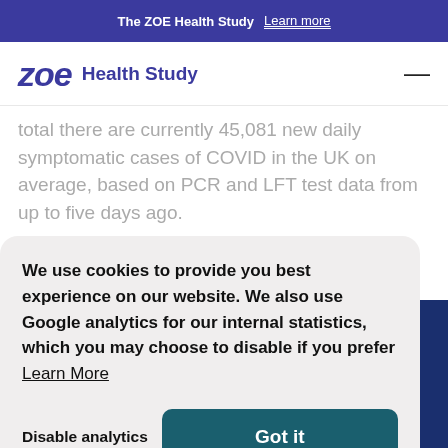The ZOE Health Study  Learn more
ZOE Health Study
total there are currently 45,081 new daily symptomatic cases of COVID in the UK on average, based on PCR and LFT test data from up to five days ago.
We use cookies to provide you best experience on our website. We also use Google analytics for our internal statistics, which you may choose to disable if you prefer  Learn More
Disable analytics
Got it